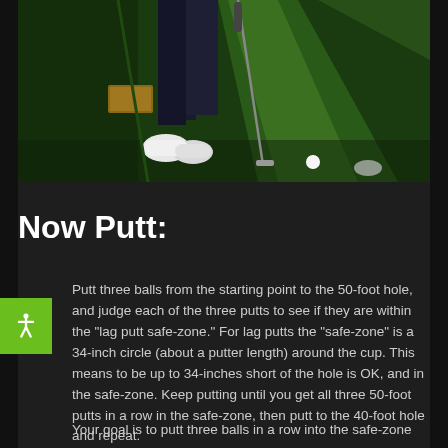[Figure (photo): Golfer standing on a putting green, lower body visible with dark pants and white golf shoes, holding a putter, with a practice putting lane visible on green turf]
Now Putt:
Putt three balls from the starting point to the 50-foot hole, and judge each of the three putts to see if they are within the "lag putt safe-zone." For lag putts the "safe-zone" is a 34-inch circle (about a putter length) around the cup. This means to be up to 34-inches short of the hole is OK, and in the safe-zone. Keep putting until you get all three 50-foot putts in a row in the safe-zone, then putt to the 40-foot hole and repeat.
Your goal is to putt three balls in a row into the safe-zone at each of the 50-, the 40-, the 30-foot distances. The